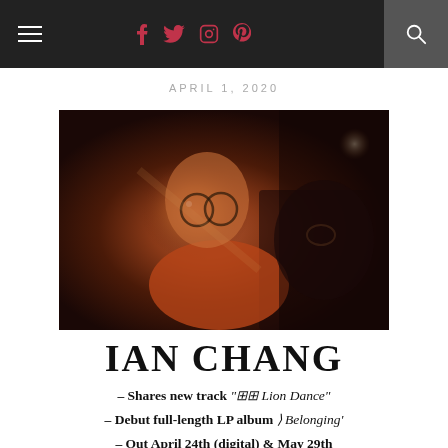Navigation bar with hamburger menu, social icons (f, twitter, instagram, pinterest), and search
APRIL 1, 2020
[Figure (photo): Portrait photo of Ian Chang, a young man wearing round glasses and an orange/rust shirt, illuminated by warm light against a dark background, appears to be on an airplane]
IAN CHANG
– Shares new track '🀄🀄 Lion Dance"
– Debut full-length LP album 🡆 Belonging'
– Out April 24th (digital) & May 29th